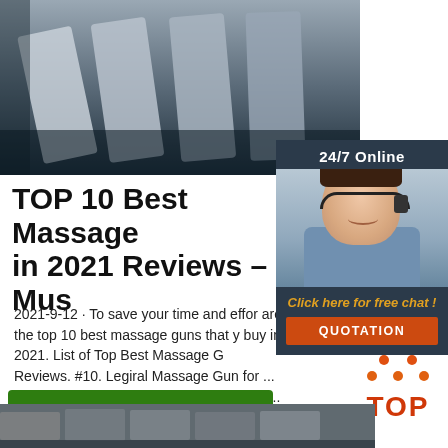[Figure (photo): Top image showing metallic/steel bars or tools on dark background]
TOP 10 Best Massage in 2021 Reviews – Mus
2021-9-12 · To save your time and effort, are the top 10 best massage guns that you buy in 2021. List of Top Best Massage G Reviews. #10. Legiral Massage Gun for ... #9. Lynzzeu Hand-Held Muscle Massage... NoCry Professional Cordless Handheld Massage Gun. #7.
[Figure (screenshot): Sidebar with 24/7 Online label, customer service woman with headset photo, 'Click here for free chat!' text, and QUOTATION button]
[Figure (logo): TOP logo with orange dots arranged in triangle above the word TOP in orange and red colors]
Get Price
[Figure (photo): Bottom partial image showing dark metallic tools or equipment]